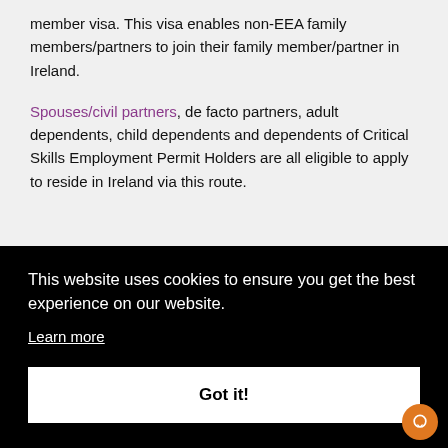member visa. This visa enables non-EEA family members/partners to join their family member/partner in Ireland.
Spouses/civil partners, de facto partners, adult dependents, child dependents and dependents of Critical Skills Employment Permit Holders are all eligible to apply to reside in Ireland via this route.
[Figure (screenshot): Cookie consent banner overlay with black background. Text reads: 'This website uses cookies to ensure you get the best experience on our website.' with a 'Learn more' link and a 'Got it!' button. Partial text visible in top-right corner showing 's?']
Conference or event visas